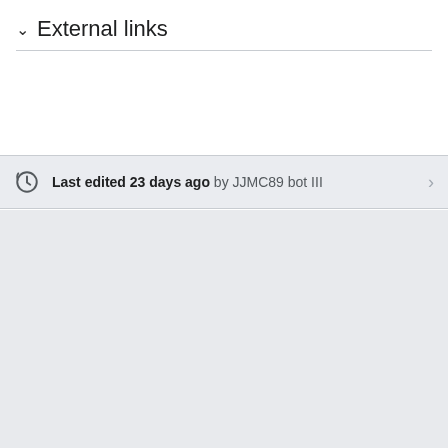External links
Last edited 23 days ago by JJMC89 bot III